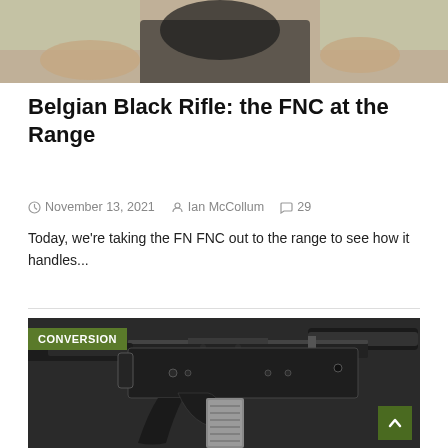[Figure (photo): Partial photo of a person holding a firearm, cropped at the top of the page]
Belgian Black Rifle: the FNC at the Range
November 13, 2021   Ian McCollum   29
Today, we're taking the FN FNC out to the range to see how it handles...
[Figure (photo): Close-up photo of an FN FNC rifle laid on a dark surface, showing the receiver, pistol grip, trigger guard, and magazine. A green 'CONVERSION' badge is overlaid in the top-left corner of the image.]